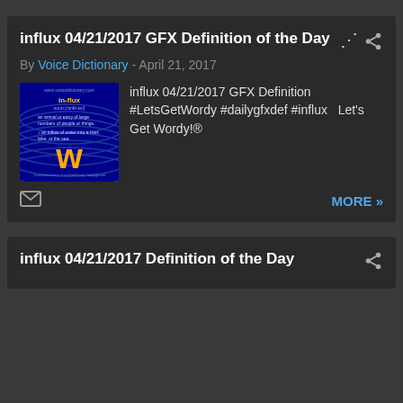influx 04/21/2017 GFX Definition of the Day
By Voice Dictionary - April 21, 2017
[Figure (illustration): Thumbnail image for influx GFX definition - blue background with yellow W logo and text about influx definition]
influx 04/21/2017 GFX Definition #LetsGetWordy #dailygfxdef #influx   Let's Get Wordy!®
MORE »
influx 04/21/2017 Definition of the Day